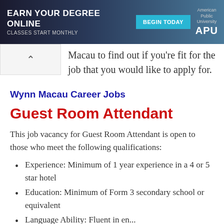[Figure (screenshot): Advertisement banner for American Public University (APU) online degree program. Dark blue background with text 'EARN YOUR DEGREE ONLINE', 'CLASSES START MONTHLY', a teal 'BEGIN TODAY' button, and the APU logo.]
Macau to find out if you're fit for the job that you would like to apply for.
Wynn Macau Career Jobs
Guest Room Attendant
This job vacancy for Guest Room Attendant is open to those who meet the following qualifications:
Experience: Minimum of 1 year experience in a 4 or 5 star hotel
Education: Minimum of Form 3 secondary school or equivalent
Language Ability: Fluent in en...